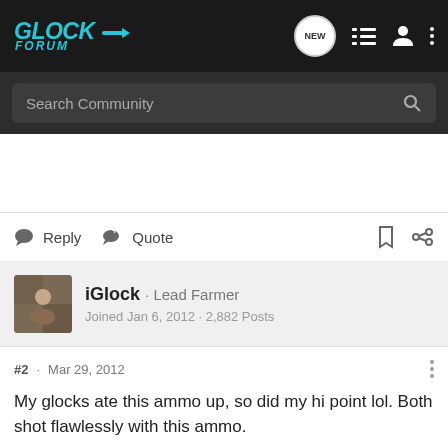Glock Forum — navigation bar with logo, NEW chat, list, profile, and menu icons
Search Community
Reply  Quote
iGlock · Lead Farmer
Joined Jan 6, 2012 · 2,882 Posts
#2 · Mar 29, 2012
My glocks ate this ammo up, so did my hi point lol. Both shot flawlessly with this ammo.